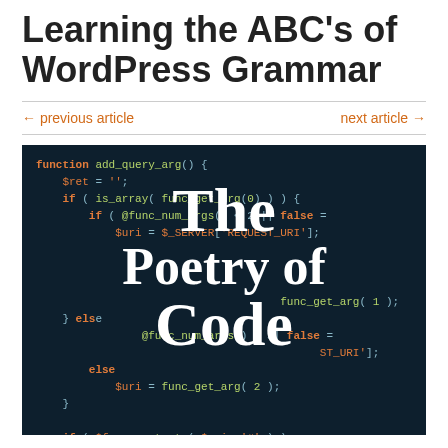Learning the ABC's of WordPress Grammar
← previous article    next article →
[Figure (illustration): Dark background code editor screenshot overlaid with large white serif text reading 'The Poetry of Code'. PHP code is visible including function add_query_arg(), variable assignments, conditionals with is_array, func_get_arg, @func_num_args, $_SERVER['REQUEST_URI'], strstr, substr, strlen calls in syntax-highlighted colors.]